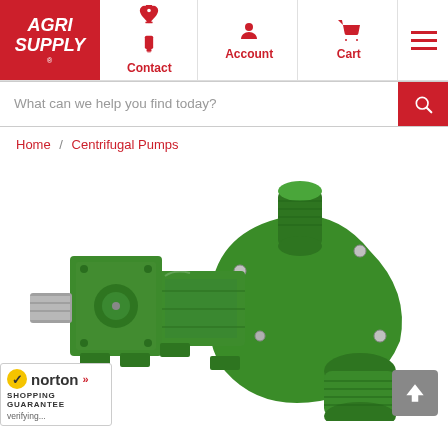[Figure (logo): Agri Supply logo - red background with white italic text AGRI SUPPLY]
Contact
Account
Cart
What can we help you find today?
Home / Centrifugal Pumps
[Figure (photo): Green cast iron centrifugal pump displayed on white background - front view showing inlet/outlet ports and mounting bracket]
[Figure (logo): Norton Shopping Guarantee badge with yellow checkmark]